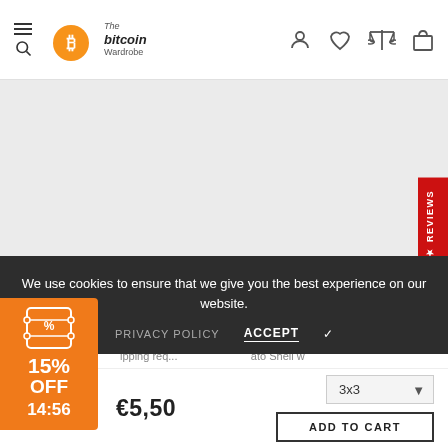The bitcoin Wardrobe
[Figure (screenshot): Product image area - light gray background placeholder for product photo]
REVIEWS
We use cookies to ensure that we give you the best experience on our website.
PRIVACY POLICY   ACCEPT ✓
ipping req...     ...ato Shell w
15% OFF 14:56
€5,50
3x3
ADD TO CART